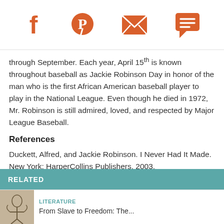[Social media share icons: Facebook, Pinterest, Email, Comment]
through September. Each year, April 15th is known throughout baseball as Jackie Robinson Day in honor of the man who is the first African American baseball player to play in the National League. Even though he died in 1972, Mr. Robinson is still admired, loved, and respected by Major League Baseball.
References
Duckett, Alfred, and Jackie Robinson. I Never Had It Made. New York: HarperCollins Publishers, 2003.
© 2016 Ara Vahanian
RELATED
LITERATURE
From Slave to Freedom: The...